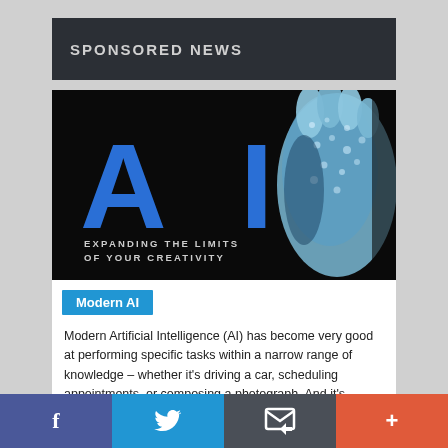SPONSORED NEWS
[Figure (illustration): Dark background image with large blue letters 'AI' and a textured robotic/brain-like hand on the right, with text 'EXPANDING THE LIMITS OF YOUR CREATIVITY' in white]
Modern AI
Modern Artificial Intelligence (AI) has become very good at performing specific tasks within a narrow range of knowledge – whether it's driving a car, scheduling appointments, or composing a photograph. And it's growing at a phenomenal rate. Gartner projects the AI industry will grow to more than $3.9 trillion by 2022,1 more than three times the size of the industry in 2018.
f  (Twitter)  (email)  +